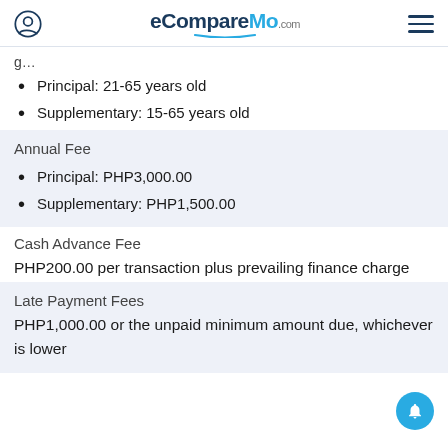eCompareMo.com
Principal: 21-65 years old
Supplementary: 15-65 years old
Annual Fee
Principal: PHP3,000.00
Supplementary: PHP1,500.00
Cash Advance Fee
PHP200.00 per transaction plus prevailing finance charge
Late Payment Fees
PHP1,000.00 or the unpaid minimum amount due, whichever is lower